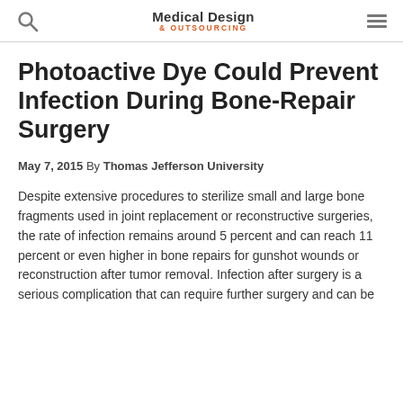Medical Design & Outsourcing
Photoactive Dye Could Prevent Infection During Bone-Repair Surgery
May 7, 2015 By Thomas Jefferson University
Despite extensive procedures to sterilize small and large bone fragments used in joint replacement or reconstructive surgeries, the rate of infection remains around 5 percent and can reach 11 percent or even higher in bone repairs for gunshot wounds or reconstruction after tumor removal. Infection after surgery is a serious complication that can require further surgery and can be